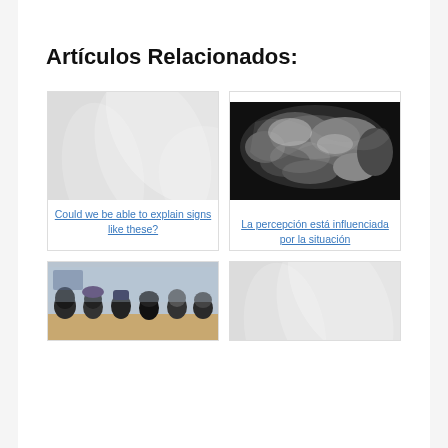Artículos Relacionados:
[Figure (photo): Light gray placeholder image with swirling white curves on gray background]
Could we be able to explain signs like these?
[Figure (photo): Black and white X-ray or medical scan image]
La percepción está influenciada por la situación
[Figure (photo): Photo of mannequin heads with wigs/hats on a table]
[Figure (photo): Light gray placeholder image with swirling white curves on gray background]